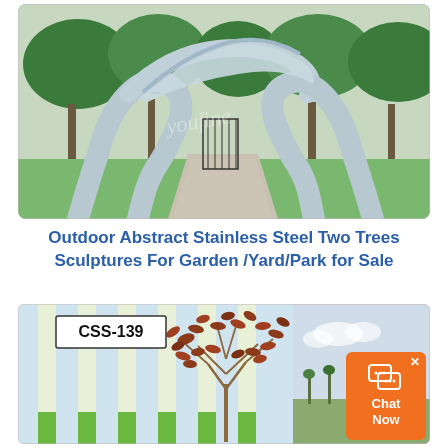[Figure (photo): Large stainless steel abstract sculpture resembling two tree-like arch forms in a park setting with green trees and a paved walkway. Watermark text 'youfine' visible.]
Outdoor Abstract Stainless Steel Two Trees Sculptures For Garden /Yard/Park for Sale
[Figure (photo): Product listing image showing CSS-139 label. A decorative metal tree sculpture with leaf-shaped elements in reddish-brown, placed against a backdrop of vertical striped panels in light blue, white, and green. A partial outdoor scene visible on the right.]